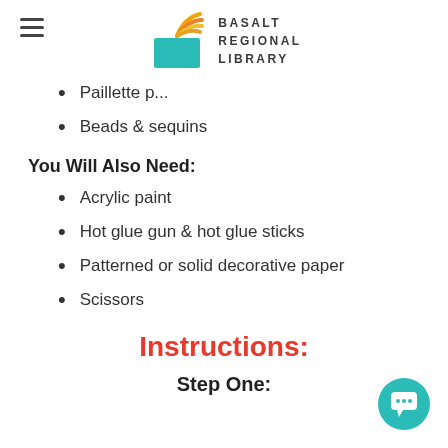BASALT REGIONAL LIBRARY
Paillette paper (partial, cut off)
Beads & sequins
You Will Also Need:
Acrylic paint
Hot glue gun & hot glue sticks
Patterned or solid decorative paper
Scissors
Instructions:
Step One: